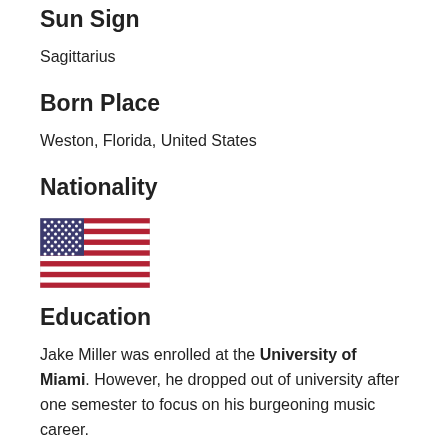Sun Sign
Sagittarius
Born Place
Weston, Florida, United States
Nationality
[Figure (illustration): US flag emoji/icon]
Education
Jake Miller was enrolled at the University of Miami. However, he dropped out of university after one semester to focus on his burgeoning music career.